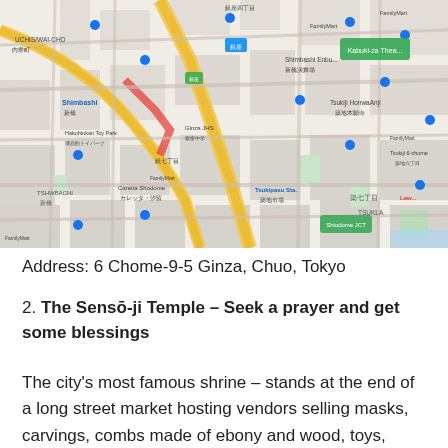[Figure (map): Google Maps view of Ginza area in Tokyo, Japan, showing streets, landmarks including Kabuki-za Theatre, Shimbashi, Tsukiji Honganji, Hakuhinkan Toy Park, Caretta Shiodome, and various FamilyMart and convenience stores. Major roads shown in yellow/orange. Japanese text labels throughout.]
Address: 6 Chome-9-5 Ginza, Chuo, Tokyo
2. The Sensō-ji Temple – Seek a prayer and get some blessings
The city's most famous shrine – stands at the end of a long street market hosting vendors selling masks, carvings, combs made of ebony and wood, toys, kimonos, fabrics, and precious paper goods. Some of